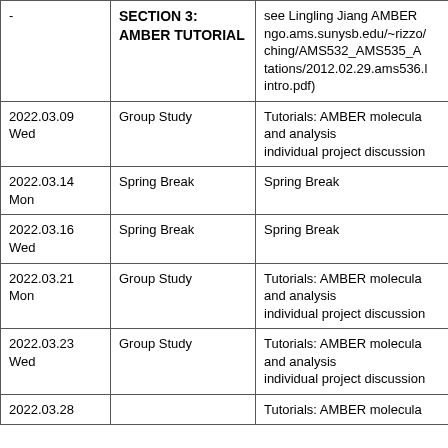| Date | Topic | Notes/Resources |
| --- | --- | --- |
| - | SECTION 3: AMBER TUTORIAL | see Lingling Jiang AMBER ngo.ams.sunysb.edu/~rizzo/ching/AMS532_AMS535_Atations/2012.02.29.ams536.l intro.pdf) |
| 2022.03.09 Wed | Group Study | Tutorials: AMBER molecular and analysis individual project discussion |
| 2022.03.14 Mon | Spring Break | Spring Break |
| 2022.03.16 Wed | Spring Break | Spring Break |
| 2022.03.21 Mon | Group Study | Tutorials: AMBER molecular and analysis individual project discussion |
| 2022.03.23 Wed | Group Study | Tutorials: AMBER molecular and analysis individual project discussion |
| 2022.03.28 ... |  | Tutorials: AMBER molecula... |